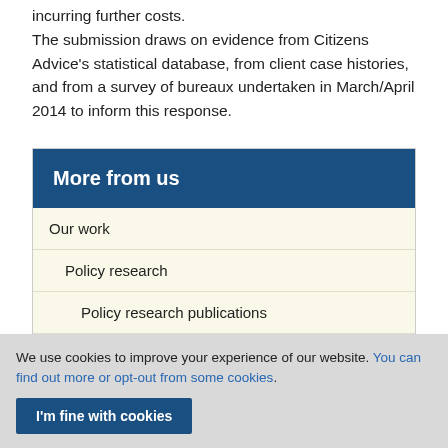incurring further costs.
The submission draws on evidence from Citizens Advice's statistical database, from client case histories, and from a survey of bureaux undertaken in March/April 2014 to inform this response.
More from us
Our work
Policy research
Policy research publications
Justice
We use cookies to improve your experience of our website. You can find out more or opt-out from some cookies.
I'm fine with cookies